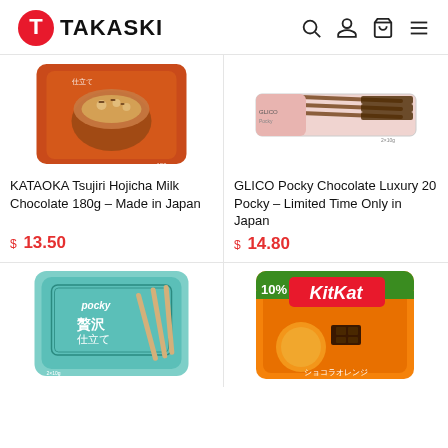TAKASKI
[Figure (photo): KATAOKA Tsujiri Hojicha Milk Chocolate 180g product package - orange/red packaging with latte coffee image]
KATAOKA Tsujiri Hojicha Milk Chocolate 180g – Made in Japan
$ 13.50
[Figure (photo): GLICO Pocky Chocolate Luxury 20 Pocky stick product in pink/white packaging]
GLICO Pocky Chocolate Luxury 20 Pocky – Limited Time Only in Japan
$ 14.80
[Figure (photo): Pocky 贅沢仕立て (Luxury) biscuit sticks in teal/mint colored packaging]
[Figure (photo): KitKat Chocola Orange mini bar pack in orange packaging with 10% more mark]